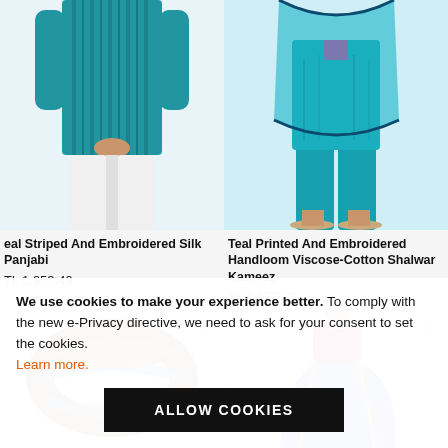[Figure (photo): Top-left: Teal Striped And Embroidered Silk Panjabi product photo on model (cropped, shows lower torso and legs in white pants)]
Teal Striped And Embroidered Silk Panjabi
Tk 1,953.49
[Figure (photo): Top-right: Teal Printed And Embroidered Handloom Viscose-Cotton Shalwar Kameez product photo on model (cropped, shows lower body with teal dupatta and sandals)]
Teal Printed And Embroidered Handloom Viscose-Cotton Shalwar Kameez
Tk 4,627.91
[Figure (photo): Bottom-left: Brown and blue striped wooden bangle/bracelet product photo on light grey background]
[Figure (photo): Bottom-right: Blue and multicolor sari/saree on mannequin with magenta blouse]
We use cookies to make your experience better. To comply with the new e-Privacy directive, we need to ask for your consent to set the cookies. Learn more.
ALLOW COOKIES